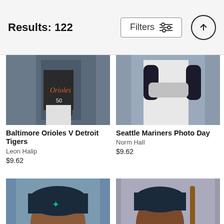Results: 122
Filters
[Figure (photo): Baseball player in Baltimore Orioles uniform, pitcher pose, dark jersey with orange script]
Baltimore Orioles V Detroit Tigers
Leon Halip
$9.62
[Figure (photo): Seattle Mariners player in white uniform, arms crossed, dark arm sleeve]
Seattle Mariners Photo Day
Norm Hall
$9.62
[Figure (photo): Seattle Mariners player smiling, wearing navy cap with teal star logo, close-up portrait]
[Figure (photo): Seattle Mariners player smiling, wearing navy cap, holding a baseball bat, photo day portrait]